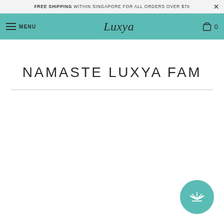FREE SHIPPING WITHIN SINGAPORE FOR ALL ORDERS OVER $70
MENU | Luxya | 0
NAMASTE LUXYA FAM
[Figure (logo): Teal circle with white lotus flower icon]